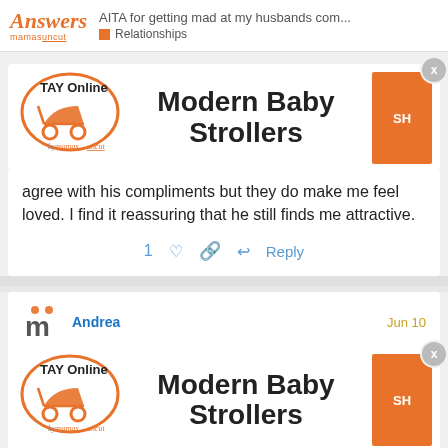AITA for getting mad at my husbands com... | Relationships
[Figure (screenshot): TAY Online by mamas logo with stroller, Modern Baby Strollers ad, close button, SH button]
agree with his compliments but they do make me feel loved. I find it reassuring that he still finds me attractive.
1 ♡ 🔗 ↩ Reply
Andrea  Jun 10
[Figure (screenshot): TAY Online by mamas logo with stroller, Modern Baby Strollers ad, close button, SH button (second instance)]
CONTINUES THREAD FOLLOWING JUMP TO...